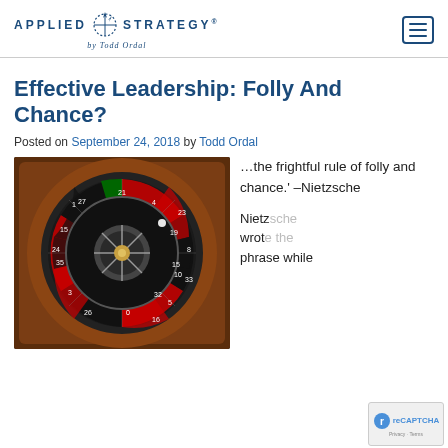Applied Strategy® by Todd Ordal
Effective Leadership: Folly And Chance?
Posted on September 24, 2018 by Todd Ordal
[Figure (photo): Overhead view of a roulette wheel with red and black numbered slots, wooden rim, and a small white ball visible on the wheel.]
…the frightful rule of folly and chance.' –Nietzsche
Nietzsche wrote the phrase while